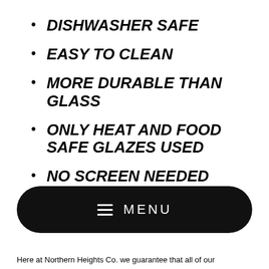DISHWASHER SAFE
EASY TO CLEAN
MORE DURABLE THAN GLASS
ONLY HEAT AND FOOD SAFE GLAZES USED
NO SCREEN NEEDED
MENU
Here at Northern Heights Co. we guarantee that all of our